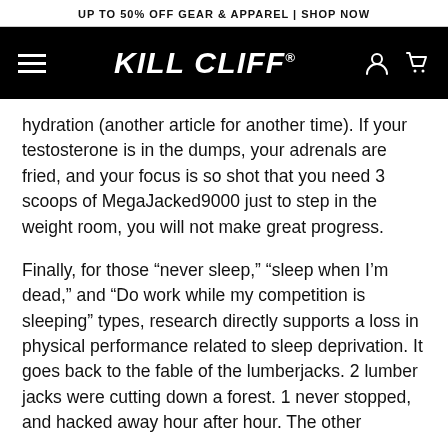UP TO 50% OFF GEAR & APPAREL | SHOP NOW
[Figure (logo): Kill Cliff logo in white italic bold text on black navigation bar with hamburger menu on left and account/cart icons on right]
hydration (another article for another time). If your testosterone is in the dumps, your adrenals are fried, and your focus is so shot that you need 3 scoops of MegaJacked9000 just to step in the weight room, you will not make great progress.
Finally, for those “never sleep,” “sleep when I’m dead,” and “Do work while my competition is sleeping” types, research directly supports a loss in physical performance related to sleep deprivation. It goes back to the fable of the lumberjacks. 2 lumber jacks were cutting down a forest. 1 never stopped, and hacked away hour after hour. The other